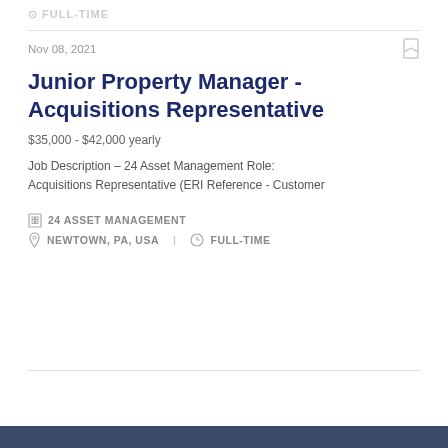FULL-TIME
Nov 08, 2021
Junior Property Manager - Acquisitions Representative
$35,000 - $42,000 yearly
Job Description – 24 Asset Management Role: Acquisitions Representative (ERI Reference - Customer
24 ASSET MANAGEMENT
NEWTOWN, PA, USA   FULL-TIME